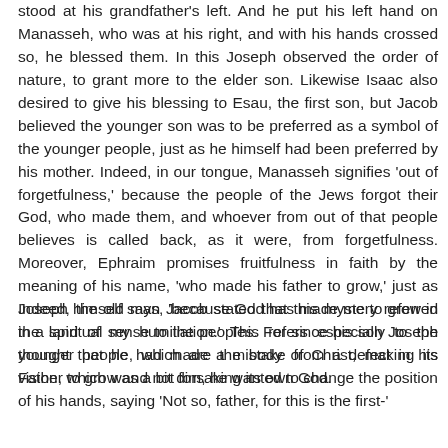stood at his grandfather's left. And he put his left hand on Manasseh, who was at his right, and with his hands crossed so, he blessed them. In this Joseph observed the order of nature, to grant more to the elder son. Likewise Isaac also desired to give his blessing to Esau, the first son, but Jacob believed the younger son was to be preferred as a symbol of the younger people, just as he himself had been preferred by his mother. Indeed, in our tongue, Manasseh signifies 'out of forgetfulness,' because the people of the Jews forgot their God, who made them, and whoever from out of that people believes is called back, as it were, from forgetfulness. Moreover, Ephraim promises fruitfulness in faith by the meaning of his name, 'who made his father to grow,' just as Joseph himself says, 'because God has made me to grow in the land of my humiliation.' This refers especially to the younger people, which are the body of Christ, making its Father to grow and not forsaking its own God.
Indeed, the old man Jacob stated that this mystery referred in a spiritual sense to the peoples. For since his son Joseph thought that he had made a mistake from a defect in his vision, which was a bit dim, he wanted to change the position of his hands, saying 'Not so, father, for this is the first-'